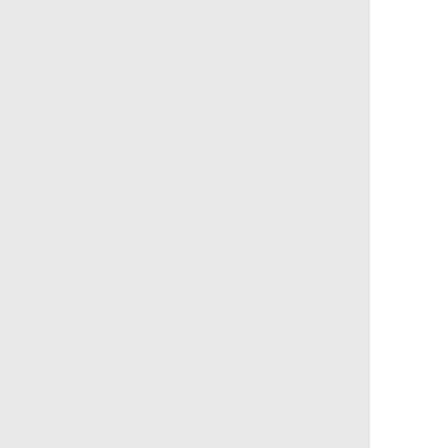outra mach in a way the routi murd of youn black doesn Cabl TV outle get to host fiery deba Chin strok comp